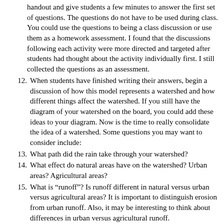handout and give students a few minutes to answer the first set of questions. The questions do not have to be used during class. You could use the questions to being a class discussion or use them as a homework assessment. I found that the discussions following each activity were more directed and targeted after students had thought about the activity individually first. I still collected the questions as an assessment.
12. When students have finished writing their answers, begin a discussion of how this model represents a watershed and how different things affect the watershed. If you still have the diagram of your watershed on the board, you could add these ideas to your diagram. Now is the time to really consolidate the idea of a watershed. Some questions you may want to consider include:
13. What path did the rain take through your watershed?
14. What effect do natural areas have on the watershed? Urban areas? Agricultural areas?
15. What is “runoff”? Is runoff different in natural versus urban versus agricultural areas? It is important to distinguish erosion from urban runoff. Also, it may be interesting to think about differences in urban versus agricultural runoff.
16. What affect does runoff have on the bay?
17. What is a watershed? How is this model similar to a real